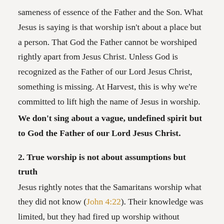sameness of essence of the Father and the Son. What Jesus is saying is that worship isn't about a place but a person. That God the Father cannot be worshiped rightly apart from Jesus Christ. Unless God is recognized as the Father of our Lord Jesus Christ, something is missing. At Harvest, this is why we're committed to lift high the name of Jesus in worship.
We don't sing about a vague, undefined spirit but to God the Father of our Lord Jesus Christ.
2. True worship is not about assumptions but truth
Jesus rightly notes that the Samaritans worship what they did not know (John 4:22). Their knowledge was limited, but they had fired up worship without